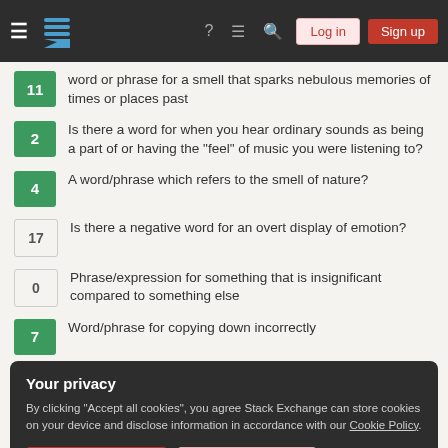Stack Exchange - Log in / Sign up navigation bar
11 — word or phrase for a smell that sparks nebulous memories of times or places past
2 — Is there a word for when you hear ordinary sounds as being a part of or having the "feel" of music you were listening to?
4 — A word/phrase which refers to the smell of nature?
17 — Is there a negative word for an overt display of emotion?
0 — Phrase/expression for something that is insignificant compared to something else
7 — Word/phrase for copying down incorrectly
Your privacy
By clicking "Accept all cookies", you agree Stack Exchange can store cookies on your device and disclose information in accordance with our Cookie Policy.
Accept all cookies | Customize settings
Equidistribution module 1